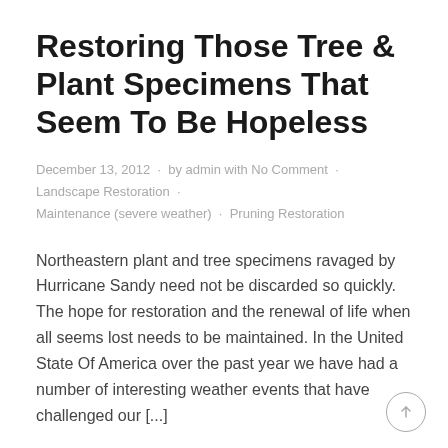Restoring Those Tree & Plant Specimens That Seem To Be Hopeless
December 13, 2012  ·  by admin with No Comment  ·  Landscape Restoration  ·  Maintenance (severe weather)  ·  Pruning Restoration
Northeastern plant and tree specimens ravaged by Hurricane Sandy need not be discarded so quickly. The hope for restoration and the renewal of life when all seems lost needs to be maintained. In the United State Of America over the past year we have had a number of interesting weather events that have challenged our [...]